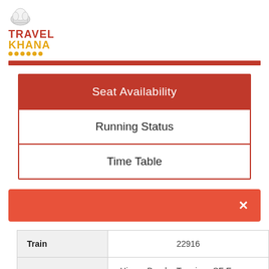[Figure (logo): TravelKhana logo with chef hat icon, red 'TRAVEL' text, golden 'KHANA' text, and yellow dots below]
| Seat Availability |
| Running Status |
| Time Table |
| Train | 22916 |
| --- | --- |
| Train Name | Hisar - Bandra Terminus SF Express (PT) |